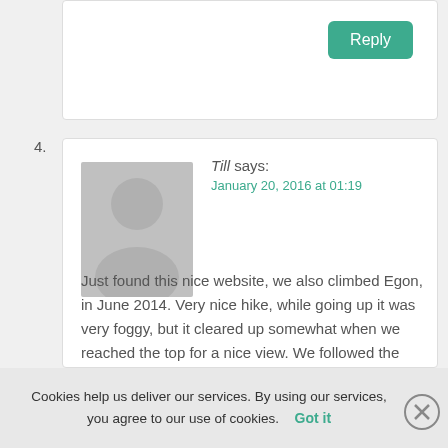[Figure (other): Reply button in top card area]
4.
[Figure (other): Gray avatar/profile placeholder image]
Till says:
January 20, 2016 at 01:19
Just found this nice website, we also climbed Egon, in June 2014. Very nice hike, while going up it was very foggy, but it cleared up somewhat when we reached the top for a nice view. We followed the track that's on Open Streetmap, worked perfectly with a smartphone and as others have said it's pretty obvious for the most part. We were the only people there for the
Cookies help us deliver our services. By using our services, you agree to our use of cookies. Got it